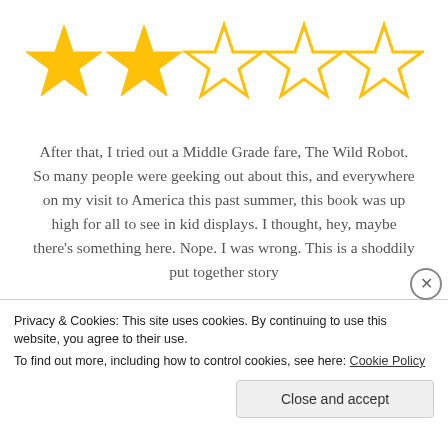[Figure (other): Star rating graphic showing 2 filled gold stars and 3 empty gold-outline stars out of 5]
After that, I tried out a Middle Grade fare, The Wild Robot. So many people were geeking out about this, and everywhere on my visit to America this past summer, this book was up high for all to see in kid displays. I thought, hey, maybe there's something here. Nope. I was wrong. This is a shoddily put together story
Privacy & Cookies: This site uses cookies. By continuing to use this website, you agree to their use.
To find out more, including how to control cookies, see here: Cookie Policy
Close and accept